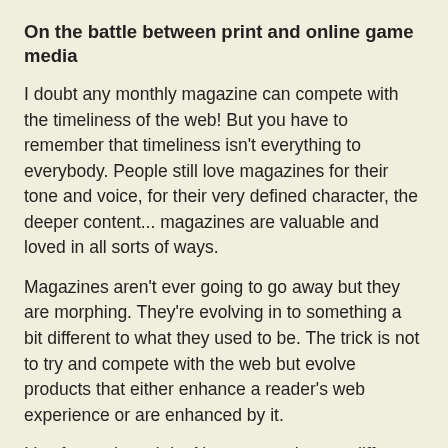On the battle between print and online game media
I doubt any monthly magazine can compete with the timeliness of the web! But you have to remember that timeliness isn't everything to everybody. People still love magazines for their tone and voice, for their very defined character, the deeper content... magazines are valuable and loved in all sorts of ways.
Magazines aren't ever going to go away but they are morphing. They're evolving in to something a bit different to what they used to be. The trick is not to try and compete with the web but evolve products that either enhance a reader's web experience or are enhanced by it.
It's often quite subtle. News pages have a different flavor now. There's still news, of course but it's more reflective and analytical. We really value big screenshots and detailed walkthroughs. There's a lot of evidence that suggests that people don't yet want long form content online and so this remains a key benefit of magazines. You can stretch out a bit, dive deep into a subject. Truthfully though, we have a